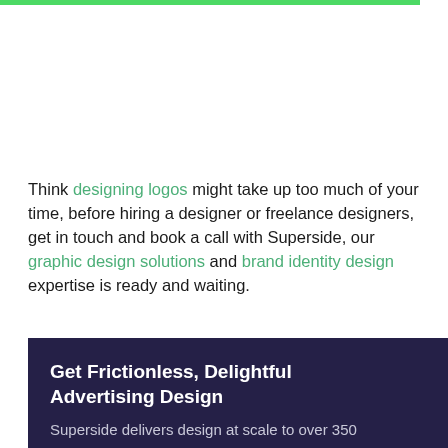Think designing logos might take up too much of your time, before hiring a designer or freelance designers, get in touch and book a call with Superside, our graphic design solutions and brand identity design expertise is ready and waiting.
Get Frictionless, Delightful Advertising Design
Superside delivers design at scale to over 350